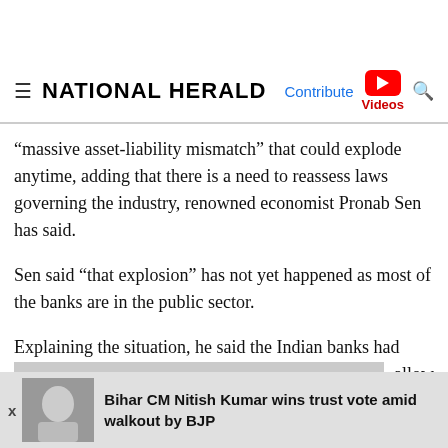NATIONAL HERALD
"massive asset-liability mismatch" that could explode anytime, adding that there is a need to reassess laws governing the industry, renowned economist Pronab Sen has said.
Sen said "that explosion" has not yet happened as most of the banks are in the public sector.
Explaining the situation, he said the Indian banks had ac[...] allow le[...] ch
Bihar CM Nitish Kumar wins trust vote amid walkout by BJP